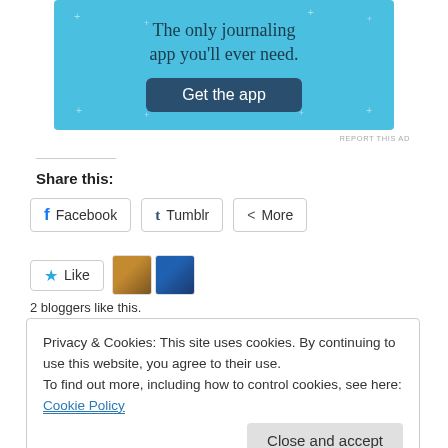[Figure (screenshot): App advertisement banner with light blue background. Text: 'The only journaling app you'll ever need.' with a dark blue 'Get the app' button.]
REPORT THIS AD
Share this:
Facebook  Tumblr  More (share buttons)
Like  (with two blogger avatars)
2 bloggers like this.
Privacy & Cookies: This site uses cookies. By continuing to use this website, you agree to their use.
To find out more, including how to control cookies, see here: Cookie Policy
Close and accept
Weapons and Tactics Teams, Federal Bureau of